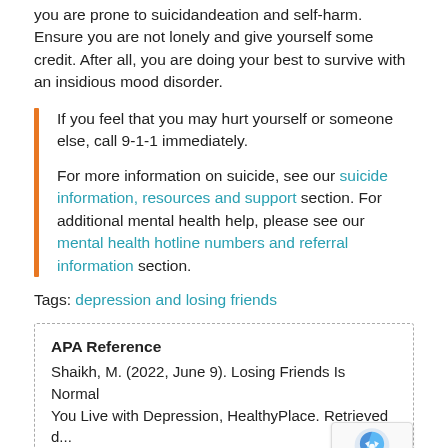you are prone to suicidandeation and self-harm. Ensure you are not lonely and give yourself some credit. After all, you are doing your best to survive with an insidious mood disorder.
If you feel that you may hurt yourself or someone else, call 9-1-1 immediately.

For more information on suicide, see our suicide information, resources and support section. For additional mental health help, please see our mental health hotline numbers and referral information section.
Tags: depression and losing friends
APA Reference
Shaikh, M. (2022, June 9). Losing Friends Is Normal When You Live with Depression, HealthyPlace. Retrieved d... 2022, August 25 f...